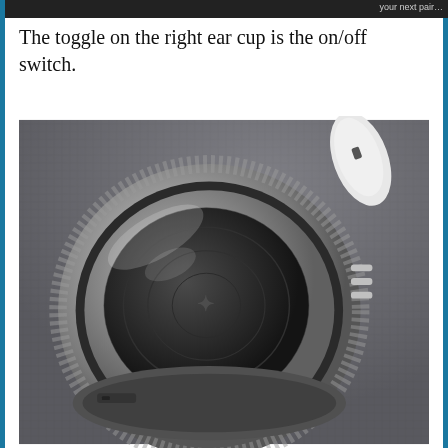The toggle on the right ear cup is the on/off switch.
[Figure (photo): Close-up photograph of a headphone right ear cup, showing a large circular black mesh driver housing with a silver metallic ring frame, control buttons on the side, and a white headband arm visible at the top right. The headphone is resting on a grey fabric surface.]